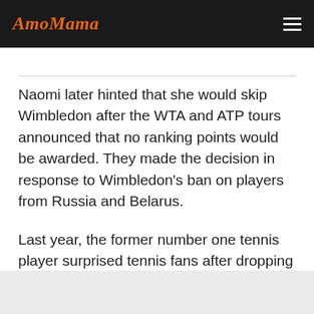AmoMama
Naomi later hinted that she would skip Wimbledon after the WTA and ATP tours announced that no ranking points would be awarded. They made the decision in response to Wimbledon's ban on players from Russia and Belarus.
Last year, the former number one tennis player surprised tennis fans after dropping out of major tournaments for mental health reasons, a topic rarely discussed in sports.